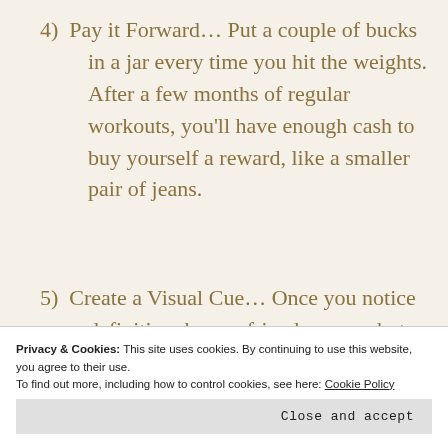4)  Pay it Forward… Put a couple of bucks in a jar every time you hit the weights. After a few months of regular workouts, you'll have enough cash to buy yourself a reward, like a smaller pair of jeans.
5)  Create a Visual Cue… Once you notice definition, have a friend snap a photo of you in a flattering outfit and make it your Facebook profile picture. You'll be off...
Happy Lifting.
Privacy & Cookies: This site uses cookies. By continuing to use this website, you agree to their use.
To find out more, including how to control cookies, see here: Cookie Policy
Close and accept